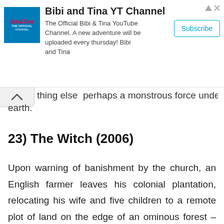[Figure (other): Advertisement banner for Bibi and Tina YT Channel with channel logo, description text, and Subscribe button]
thing else  perhaps a monstrous force under the earth.
23) The Witch (2006)
Upon warning of banishment by the church, an English farmer leaves his colonial plantation, relocating his wife and five children to a remote plot of land on the edge of an ominous forest – within which lurks an unknown evil. After the terrifying and evil happenings, their own daughter is accused of witchcrafts.